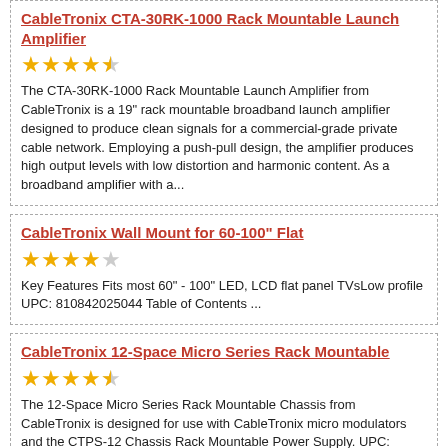CableTronix CTA-30RK-1000 Rack Mountable Launch Amplifier
★★★★½ (4.5 stars)
The CTA-30RK-1000 Rack Mountable Launch Amplifier from CableTronix is a 19" rack mountable broadband launch amplifier designed to produce clean signals for a commercial-grade private cable network. Employing a push-pull design, the amplifier produces high output levels with low distortion and harmonic content. As a broadband amplifier with a...
CableTronix Wall Mount for 60-100" Flat
★★★★☆ (4 stars)
Key Features Fits most 60" - 100" LED, LCD flat panel TVsLow profile UPC: 810842025044 Table of Contents ...
CableTronix 12-Space Micro Series Rack Mountable
★★★★½ (4.5 stars)
The 12-Space Micro Series Rack Mountable Chassis from CableTronix is designed for use with CableTronix micro modulators and the CTPS-12 Chassis Rack Mountable Power Supply. UPC: 810842024771 In the Box CableTronix 12-Space Micro Series Rack Mountable Chassis Limited 1-Year Warranty Table of Contents ...